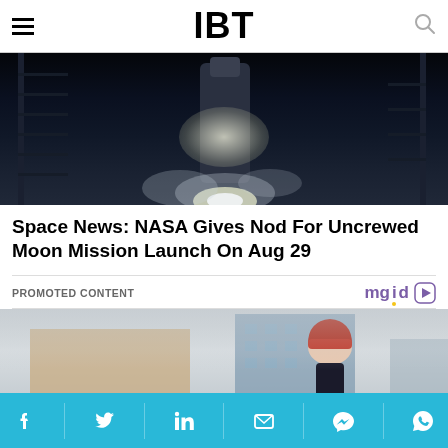IBT
[Figure (photo): A rocket on a launch pad at night, illuminated by bright lights with steam/smoke visible around the base.]
Space News: NASA Gives Nod For Uncrewed Moon Mission Launch On Aug 29
PROMOTED CONTENT
[Figure (logo): mgid logo with play button icon]
[Figure (photo): A young person wearing a red knit beanie hat in an urban setting with tall buildings in the background.]
Social sharing icons: Facebook, Twitter, LinkedIn, Email, Messenger, WhatsApp